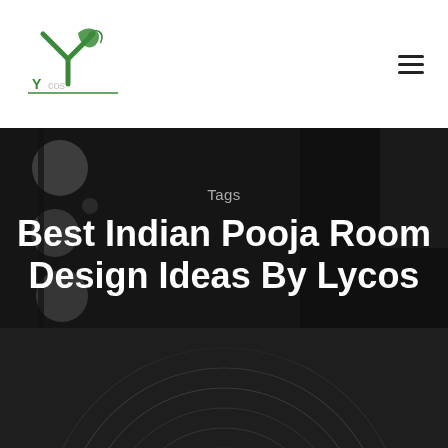[Figure (logo): Lycos green leaf and Y-shape logo mark with green underline text]
[Figure (other): Hamburger/menu icon with three horizontal lines]
[Figure (photo): Dark blurred background photo of a room interior with bokeh light circles on the left and circular pattern visible at the bottom]
Tags
Best Indian Pooja Room Design Ideas By Lycos